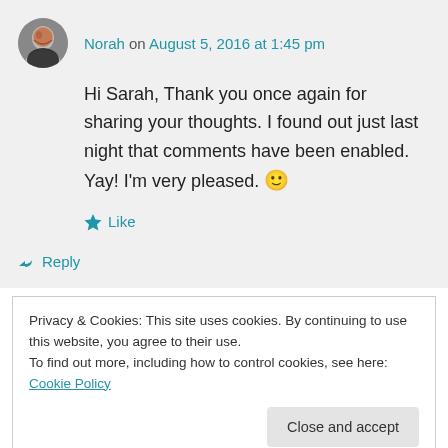Norah on August 5, 2016 at 1:45 pm
Hi Sarah, Thank you once again for sharing your thoughts. I found out just last night that comments have been enabled. Yay! I'm very pleased. 🙂
★ Like
↪ Reply
Privacy & Cookies: This site uses cookies. By continuing to use this website, you agree to their use. To find out more, including how to control cookies, see here: Cookie Policy
Close and accept
Personally, I respond with motivation to positive